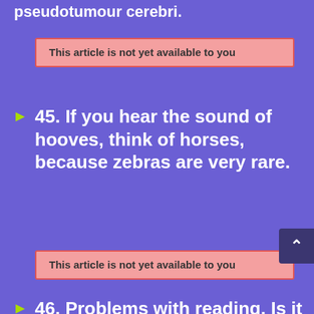pseudotumour cerebri.
This article is not yet available to you
45. If you hear the sound of hooves, think of horses, because zebras are very rare.
This article is not yet available to you
46. Problems with reading. Is it due to a badly set up varifocals or a brain tumour?
This article is not yet available to you